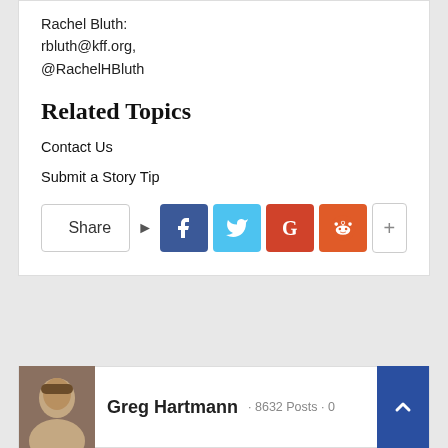Rachel Bluth:
rbluth@kff.org,
@RachelHBluth
Related Topics
Contact Us
Submit a Story Tip
[Figure (infographic): Social share bar with Share button, Facebook, Twitter, Google+, Reddit, and More (+) buttons]
[Figure (infographic): Author card for Greg Hartmann with avatar photo, 8632 Posts, 0, and an up-arrow button]